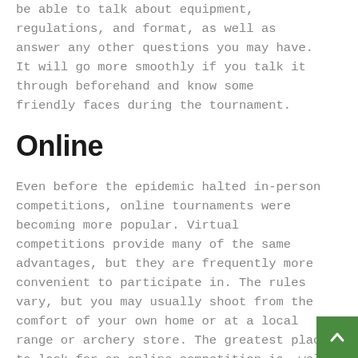be able to talk about equipment, regulations, and format, as well as answer any other questions you may have. It will go more smoothly if you talk it through beforehand and know some friendly faces during the tournament.
Online
Even before the epidemic halted in-person competitions, online tournaments were becoming more popular. Virtual competitions provide many of the same advantages, but they are frequently more convenient to participate in. The rules vary, but you may usually shoot from the comfort of your own home or at a local range or archery store. The greatest place to look for an online competition is, well, on the internet.